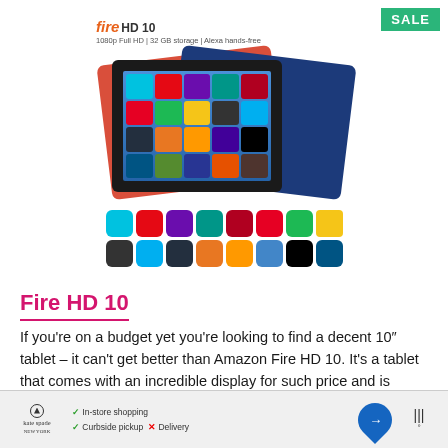[Figure (photo): Fire HD 10 tablet product image showing three tablets stacked (orange, black, dark blue) with app icons on screen, plus rows of app icons below including Netflix, Alexa, Pinterest, Spotify, IMDb, Skype, HBO, and others. Fire HD10 logo with subtitle '1080p Full HD | 32 GB storage | Alexa hands-free' at top.]
SALE
Fire HD 10
If you’re on a budget yet you’re looking to find a decent 10″ tablet – it can't get better than Amazon Fire HD 10. It’s a tablet that comes with an incredible display for such price and is equipped with powerful components, in order to provide the best user experience with help of Amazon
[Figure (photo): Advertisement bar showing Kate Spade logo, checkmarks for In-store shopping and Curbside pickup, X for Delivery, a blue map/navigation icon, and a weather widget.]